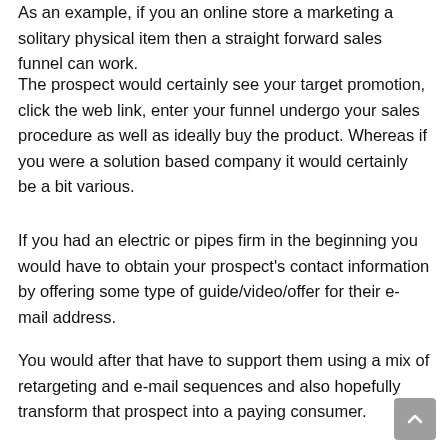As an example, if you an online store a marketing a solitary physical item then a straight forward sales funnel can work.
The prospect would certainly see your target promotion, click the web link, enter your funnel undergo your sales procedure as well as ideally buy the product. Whereas if you were a solution based company it would certainly be a bit various.
If you had an electric or pipes firm in the beginning you would have to obtain your prospect's contact information by offering some type of guide/video/offer for their e-mail address.
You would after that have to support them using a mix of retargeting and e-mail sequences and also hopefully transform that prospect into a paying consumer.